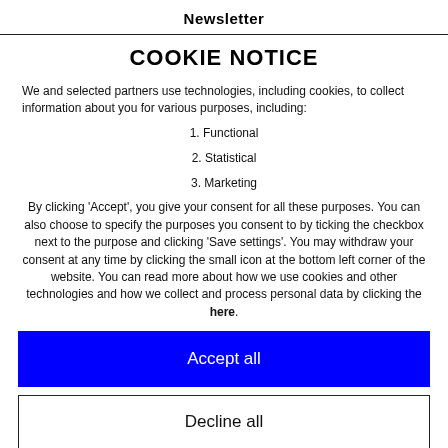Newsletter
COOKIE NOTICE
We and selected partners use technologies, including cookies, to collect information about you for various purposes, including:
1. Functional
2. Statistical
3. Marketing
By clicking ‘Accept’, you give your consent for all these purposes. You can also choose to specify the purposes you consent to by ticking the checkbox next to the purpose and clicking ‘Save settings’. You may withdraw your consent at any time by clicking the small icon at the bottom left corner of the website. You can read more about how we use cookies and other technologies and how we collect and process personal data by clicking the here.
Accept all
Decline all